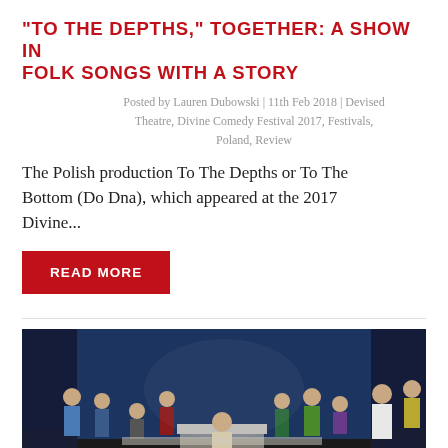“TO THE DEPTHS,” TOGETHER: A SHOW IN FOLK SONGS WITH A STORY
Posted by Lauren Dubowski | 11th Feb 2018 | Devised Theatre, Divine Comedy Festival 2017, Festivals, Poland, Review
The Polish production To The Depths or To The Bottom (Do Dna), which appeared at the 2017 Divine...
READ MORE
[Figure (photo): Theater stage photograph showing multiple performers in costume on a dimly lit stage. A man in a suit leans over a table center stage, surrounded by other performers in colorful traditional and formal costumes against a dark blue theatrical backdrop.]